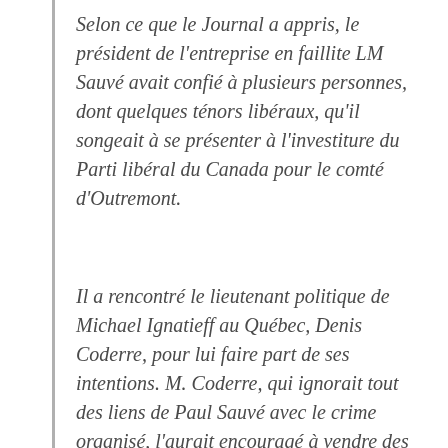Selon ce que le Journal a appris, le président de l'entreprise en faillite LM Sauvé avait confié à plusieurs personnes, dont quelques ténors libéraux, qu'il songeait à se présenter à l'investiture du Parti libéral du Canada pour le comté d'Outremont.
Il a rencontré le lieutenant politique de Michael Ignatieff au Québec, Denis Coderre, pour lui faire part de ses intentions. M. Coderre, qui ignorait tout des liens de Paul Sauvé avec le crime organisé, l'aurait encouragé à vendre des cartes de membres, comme d'autres